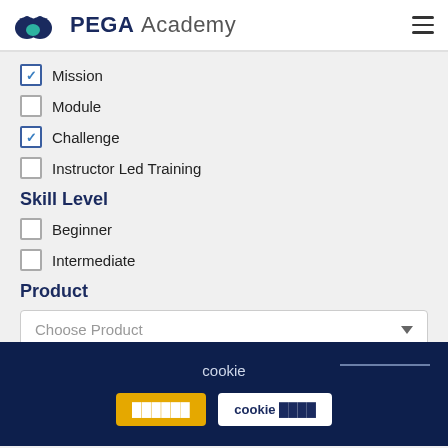PEGA Academy
Mission (checked)
Module (unchecked)
Challenge (checked)
Instructor Led Training (unchecked)
Skill Level
Beginner (unchecked)
Intermediate (unchecked)
Product
Choose Product
Capability
cookie
cookie ████